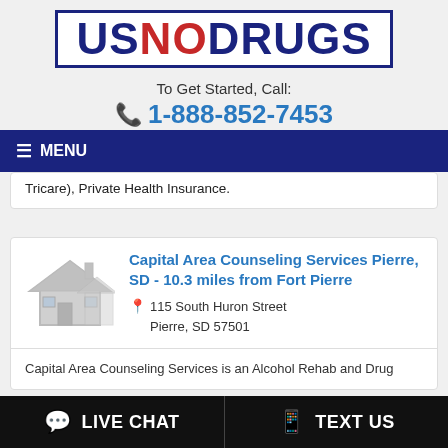[Figure (logo): USNODRUGS logo with US and DRUGS in dark navy blue, NO in red, inside a bordered box]
To Get Started, Call:
1-888-852-7453
≡ MENU
Tricare), Private Health Insurance.
Capital Area Counseling Services Pierre, SD - 10.3 miles from Fort Pierre
115 South Huron Street
Pierre, SD 57501
Capital Area Counseling Services is an Alcohol Rehab and Drug
💬 LIVE CHAT
📱 TEXT US